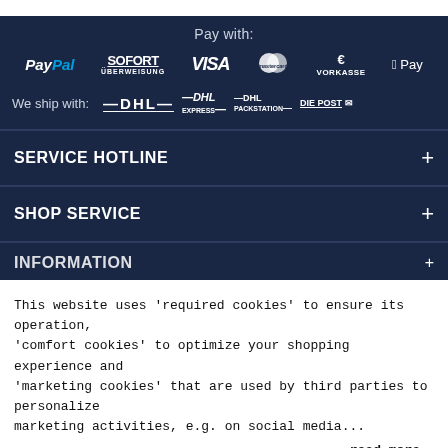Pay with:
[Figure (logo): Payment method logos: PayPal, SOFORT Überweisung, VISA, Mastercard, Euro Vorkasse, Apple Pay]
[Figure (logo): Shipping logos: DHL, DHL Express, DHL Packstation, Die Post]
SERVICE HOTLINE
SHOP SERVICE
INFORMATION
This website uses 'required cookies' to ensure its operation, 'comfort cookies' to optimize your shopping experience and 'marketing cookies' that are used by third parties to personalize marketing activities, e.g. on social media...
read more
Accept
Customize